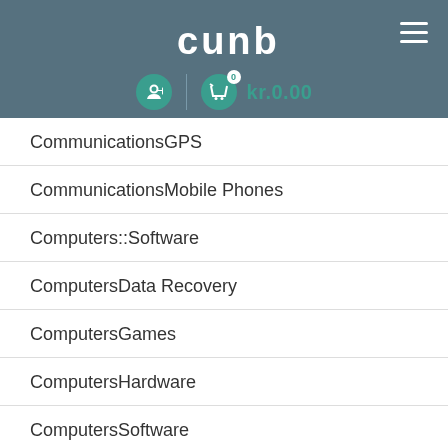cunb logo, login icon, cart icon kr.0.00, hamburger menu
CommunicationsGPS
CommunicationsMobile Phones
Computers::Software
ComputersData Recovery
ComputersGames
ComputersHardware
ComputersSoftware
Construction
crafts & hobbies
DanhGiaXe